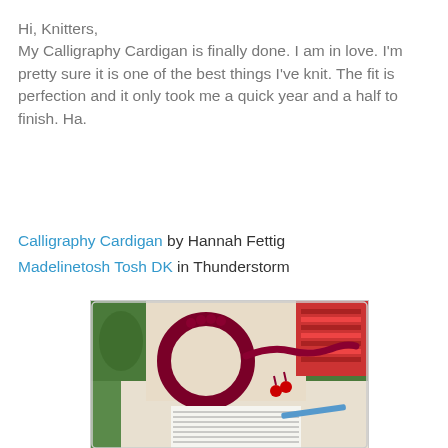Hi, Knitters,
My Calligraphy Cardigan is finally done. I am in love. I'm pretty sure it is one of the best things I've knit. The fit is perfection and it only took me a quick year and a half to finish. Ha.
Calligraphy Cardigan by Hannah Fettig
Madelinetosh Tosh DK in Thunderstorm
[Figure (photo): Photo of dark crimson/maroon knitted or crocheted decorative item (possibly a buttonhole band or trim) laid out on a colorful patterned fabric background with a printed pattern book or magazine visible at the bottom.]